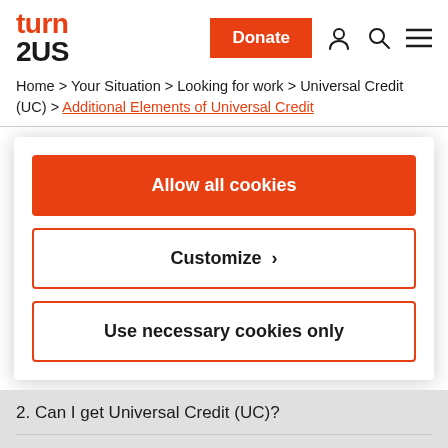[Figure (logo): Turn2US logo with 'turn' in orange and '2US' in black]
Home > Your Situation > Looking for work > Universal Credit (UC) > Additional Elements of Universal Credit
Allow all cookies
Customize >
Use necessary cookies only
2. Can I get Universal Credit (UC)?
3. Do I need to claim Universal Credit?
4. How much Universal Credit (UC) will I get?